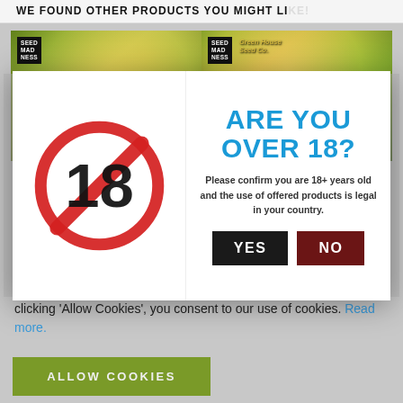WE FOUND OTHER PRODUCTS YOU MIGHT LIKE!
[Figure (photo): Two product images side by side from Seed Madness, showing cannabis plant close-ups with green and golden tones]
[Figure (infographic): Age verification modal dialog with a red no-under-18 symbol on the left and 'ARE YOU OVER 18?' text on the right, with YES and NO buttons]
clicking 'Allow Cookies', you consent to our use of cookies. Read more.
[Figure (other): ALLOW COOKIES green button]